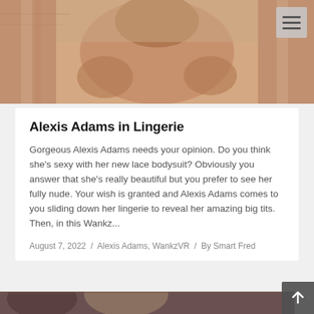[Figure (photo): Close-up photo of a person's torso against a striped background]
Alexis Adams in Lingerie
Gorgeous Alexis Adams needs your opinion. Do you think she's sexy with her new lace bodysuit? Obviously you answer that she's really beautiful but you prefer to see her fully nude. Your wish is granted and Alexis Adams comes to you sliding down her lingerie to reveal her amazing big tits. Then, in this Wankz...
August 7, 2022 / Alexis Adams, WankzVR / By Smart Fred
[Figure (photo): Partial view of another photo at the bottom of the page]